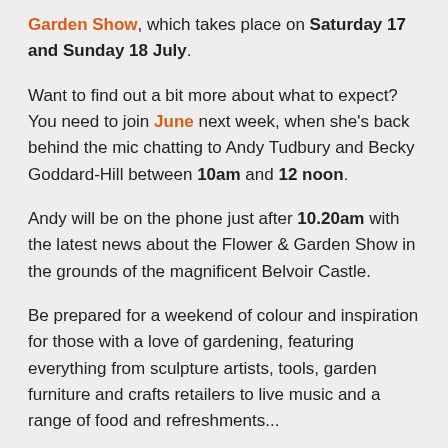Garden Show, which takes place on Saturday 17 and Sunday 18 July.
Want to find out a bit more about what to expect? You need to join June next week, when she's back behind the mic chatting to Andy Tudbury and Becky Goddard-Hill between 10am and 12 noon.
Andy will be on the phone just after 10.20am with the latest news about the Flower & Garden Show in the grounds of the magnificent Belvoir Castle.
Be prepared for a weekend of colour and inspiration for those with a love of gardening, featuring everything from sculpture artists, tools, garden furniture and crafts retailers to live music and a range of food and refreshments...
Along with the opportunity to get your gardening